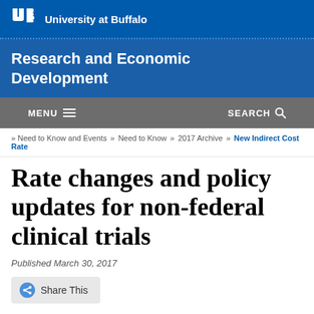University at Buffalo
Research and Economic Development
MENU   SEARCH
» Need to Know and Events » Need to Know » 2017 Archive » New Indirect Cost Rate
Rate changes and policy updates for non-federal clinical trials
Published March 30, 2017
Share This